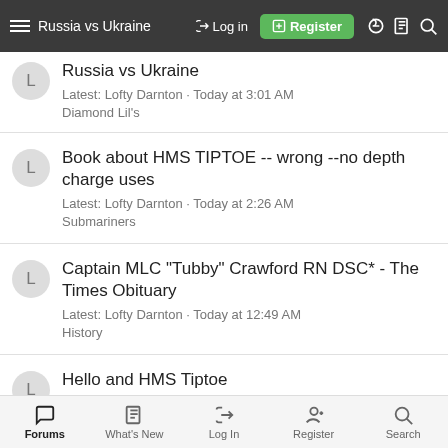Russia vs Ukraine | Log in | Register
Russia vs Ukraine
Latest: Lofty Darnton · Today at 3:01 AM
Diamond Lil's
Book about HMS TIPTOE -- wrong --no depth charge uses
Latest: Lofty Darnton · Today at 2:26 AM
Submariners
Captain MLC "Tubby" Crawford RN DSC* - The Times Obituary
Latest: Lofty Darnton · Today at 12:49 AM
History
Hello and HMS Tiptoe
Latest: Lofty Darnton · Yesterday at 11:56 PM
Submariners
Remarks to HE Gnanoa... About Retire MG at the...
Forums | What's New | Log In | Register | Search